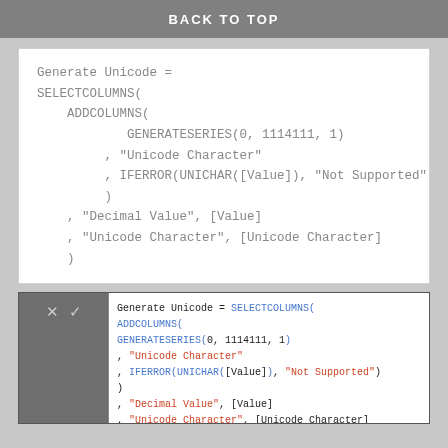BACK TO TOP
Generate Unicode =
SELECTCOLUMNS(
    ADDCOLUMNS(
            GENERATESERIES(0, 1114111, 1)
         , "Unicode Character"
         , IFERROR(UNICHAR([Value]), "Not Supported"
         )
    , "Decimal Value", [Value]
    , "Unicode Character", [Unicode Character]
    )
[Figure (screenshot): Screenshot of Power BI formula editor showing the Generate Unicode DAX formula with SELECTCOLUMNS, ADDCOLUMNS, GENERATESERIES, IFERROR, UNICHAR functions with syntax highlighting in blue and red]